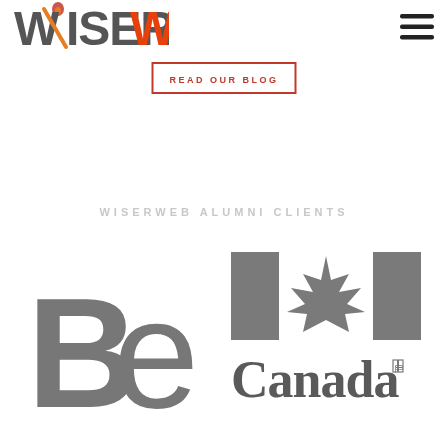[Figure (logo): WiserWeb logo with stylized 'W' icon and text WISERWEB in grey and orange]
[Figure (other): Hamburger menu icon (three horizontal lines)]
READ OUR BLOG
WISERWEB ALUMNI CLIENTS
[Figure (logo): Bell Canada logo in grey]
[Figure (logo): Government of Canada logo with Canadian flag and 'Canada' wordmark in grey]